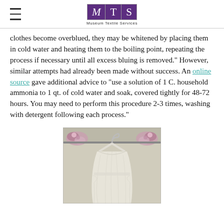Museum Textile Services
clothes become overblued, they may be whitened by placing them in cold water and heating them to the boiling point, repeating the process if necessary until all excess bluing is removed." However, similar attempts had already been made without success. An online source gave additional advice to "use a solution of 1 C. household ammonia to 1 qt. of cold water and soak, covered tightly for 48-72 hours. You may need to perform this procedure 2-3 times, washing with detergent following each process."
[Figure (photo): A white sleeveless dress hanging on a hanger, photographed against a light background with floral decorations visible on the hanger.]